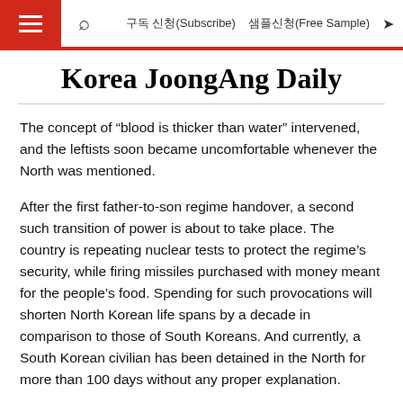구독 신청(Subscribe)  샘플신청(Free Sample)
Korea JoongAng Daily
The concept of “blood is thicker than water” intervened, and the leftists soon became uncomfortable whenever the North was mentioned.
After the first father-to-son regime handover, a second such transition of power is about to take place. The country is repeating nuclear tests to protect the regime’s security, while firing missiles purchased with money meant for the people’s food. Spending for such provocations will shorten North Korean life spans by a decade in comparison to those of South Koreans. And currently, a South Korean civilian has been detained in the North for more than 100 days without any proper explanation.
And yet, leftists in the South are afraid to open their mouths